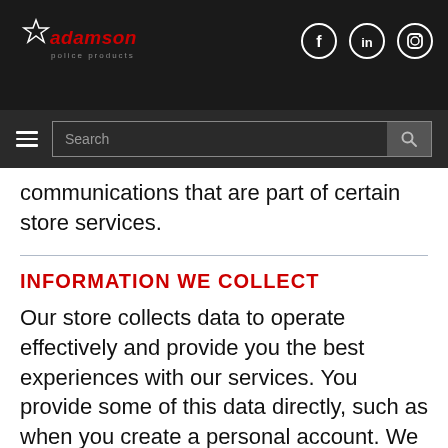Adamson Police Products — logo and social icons header
[Figure (logo): Adamson Police Products logo with star emblem, red italic text and 'police products' subtitle, on dark background]
[Figure (infographic): Social media icons: Facebook (f), LinkedIn (in), Instagram circle icons, white outlined circles on dark background]
[Figure (screenshot): Navigation bar with hamburger menu icon and search input field with search button]
communications that are part of certain store services.
INFORMATION WE COLLECT
Our store collects data to operate effectively and provide you the best experiences with our services. You provide some of this data directly, such as when you create a personal account. We get some of it by recording how you interact with our services by, for example, using